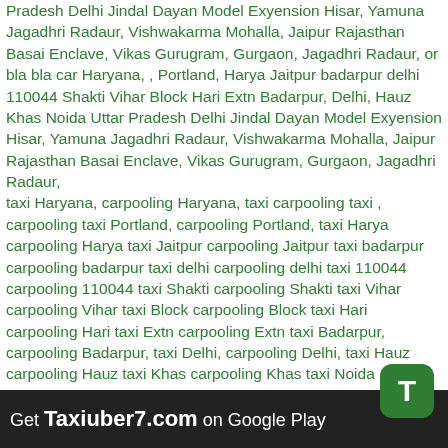Pradesh Delhi Jindal Dayan Model Exyension Hisar, Yamuna Jagadhri Radaur, Vishwakarma Mohalla, Jaipur Rajasthan Basai Enclave, Vikas Gurugram, Gurgaon, Jagadhri Radaur, or bla bla car Haryana, , Portland, Harya Jaitpur badarpur delhi 110044 Shakti Vihar Block Hari Extn Badarpur, Delhi, Hauz Khas Noida Uttar Pradesh Delhi Jindal Dayan Model Exyension Hisar, Yamuna Jagadhri Radaur, Vishwakarma Mohalla, Jaipur Rajasthan Basai Enclave, Vikas Gurugram, Gurgaon, Jagadhri Radaur, taxi Haryana, carpooling Haryana, taxi carpooling taxi , carpooling taxi Portland, carpooling Portland, taxi Harya carpooling Harya taxi Jaitpur carpooling Jaitpur taxi badarpur carpooling badarpur taxi delhi carpooling delhi taxi 110044 carpooling 110044 taxi Shakti carpooling Shakti taxi Vihar carpooling Vihar taxi Block carpooling Block taxi Hari carpooling Hari taxi Extn carpooling Extn taxi Badarpur, carpooling Badarpur, taxi Delhi, carpooling Delhi, taxi Hauz carpooling Hauz taxi Khas carpooling Khas taxi Noida carpooling Noida taxi Uttar carpooling Uttar taxi Pradesh carpooling Pradesh taxi Delhi carpooling Delhi taxi Jindal carpooling Jindal taxi Dayan carpooling Dayan taxi Model carpooling Model taxi Exyension carpooling Exyension taxi Hisar, carpooling Hisar, taxi Yamuna carpooling Yamuna taxi Jagadhri Radaur, carpooling Jagadhri Radaur, taxi Vishwakarma carpooling Vishwakarma taxi Mohalla, carpooling Mohalla, taxi carpooling taxi Jaipur carpooling Jaipur taxi Rajasthan carpooling Rajasthan taxi Basai carpooling Basai carpooling Vikas carpooling Vikas taxi Gurugram, carpooling Gurugram, taxi Gurgaon, carpooling
[Figure (logo): Green rounded square icon with white letter T]
Get Taxiuber7.com on Google Play